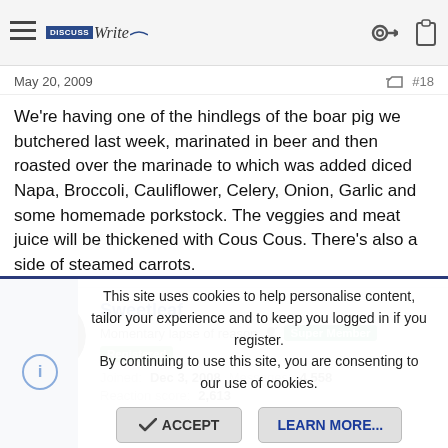DiscussWrite [header navigation bar with hamburger menu, logo, key icon, clipboard icon]
May 20, 2009   #18
We're having one of the hindlegs of the boar pig we butchered last week, marinated in beer and then roasted over the marinade to which was added diced Napa, Broccoli, Cauliflower, Celery, Onion, Garlic and some homemade porkstock. The veggies and meat juice will be thickened with Cous Cous. There's also a side of steamed carrots.
Sweetleaf
Momentary lapse of reason  [icon]  Super Member  Registered
Joined: Dec 3, 2008  Messages: 4,558
Reaction score: 2,613
This site uses cookies to help personalise content, tailor your experience and to keep you logged in if you register.
By continuing to use this site, you are consenting to our use of cookies.
ACCEPT   LEARN MORE...